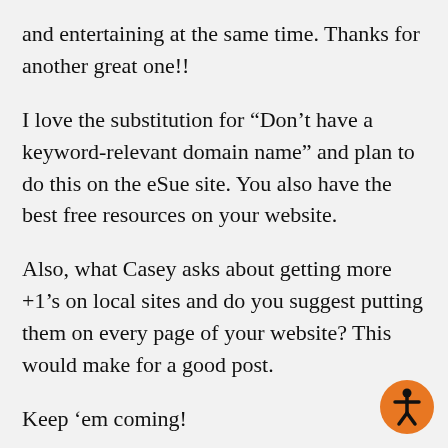and entertaining at the same time. Thanks for another great one!!
I love the substitution for “Don’t have a keyword-relevant domain name” and plan to do this on the eSue site. You also have the best free resources on your website.
Also, what Casey asks about getting more +1’s on local sites and do you suggest putting them on every page of your website? This would make for a good post.
Keep ‘em coming!
[Figure (illustration): Orange circular accessibility icon with a human figure symbol in black, positioned in the bottom-right corner.]